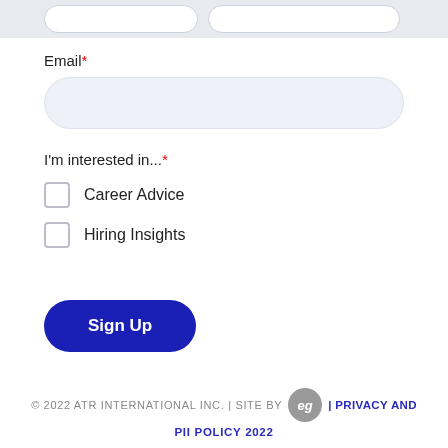Email*
I'm interested in...*
Career Advice
Hiring Insights
Sign Up
© 2022 ATR INTERNATIONAL INC. | SITE BY eg | PRIVACY AND PII POLICY 2022